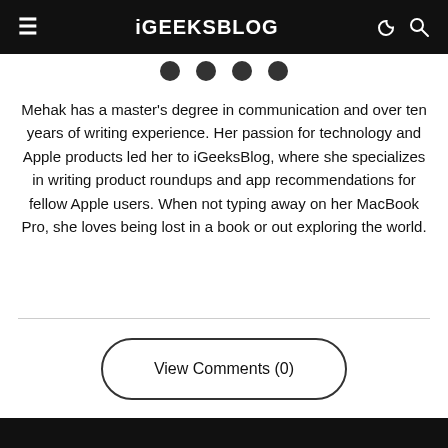iGEEKSBLOG
[Figure (other): Social media icons row (partial, cropped at top)]
Mehak has a master's degree in communication and over ten years of writing experience. Her passion for technology and Apple products led her to iGeeksBlog, where she specializes in writing product roundups and app recommendations for fellow Apple users. When not typing away on her MacBook Pro, she loves being lost in a book or out exploring the world.
View Comments (0)